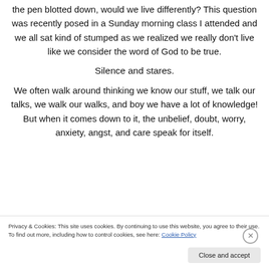the pen blotted down, would we live differently? This question was recently posed in a Sunday morning class I attended and we all sat kind of stumped as we realized we really don't live like we consider the word of God to be true.
Silence and stares.
We often walk around thinking we know our stuff, we talk our talks, we walk our walks, and boy we have a lot of knowledge! But when it comes down to it, the unbelief, doubt, worry, anxiety, angst, and care speak for itself.
Privacy & Cookies: This site uses cookies. By continuing to use this website, you agree to their use.
To find out more, including how to control cookies, see here: Cookie Policy